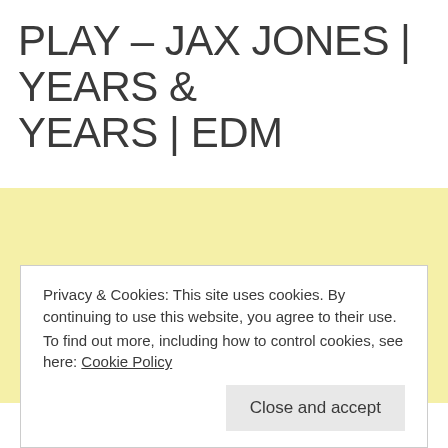PLAY – JAX JONES | YEARS & YEARS | EDM
[Figure (other): Light yellow/cream colored rectangular block serving as a background or placeholder area]
Privacy & Cookies: This site uses cookies. By continuing to use this website, you agree to their use.
To find out more, including how to control cookies, see here: Cookie Policy
Close and accept